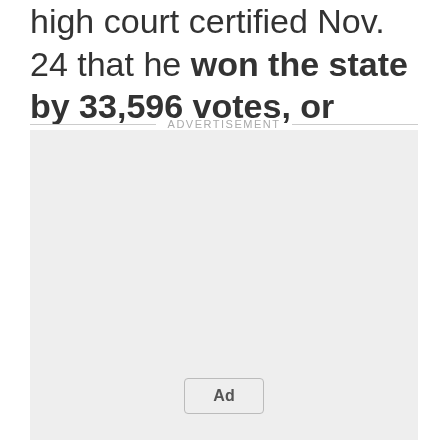high court certified Nov. 24 that he won the state by 33,596 votes, or nearly 2.4%.
[Figure (other): Advertisement placeholder box with 'Ad' button label centered near bottom]